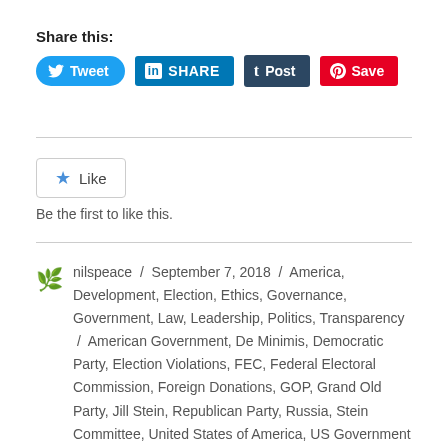Share this:
[Figure (screenshot): Social sharing buttons: Tweet (Twitter), SHARE (LinkedIn), Post (Tumblr), Save (Pinterest)]
[Figure (other): Like button widget]
Be the first to like this.
nilspeace / September 7, 2018 / America, Development, Election, Ethics, Governance, Government, Law, Leadership, Politics, Transparency / American Government, De Minimis, Democratic Party, Election Violations, FEC, Federal Electoral Commission, Foreign Donations, GOP, Grand Old Party, Jill Stein, Republican Party, Russia, Stein Committee, United States of America, US Government / Leave a comment